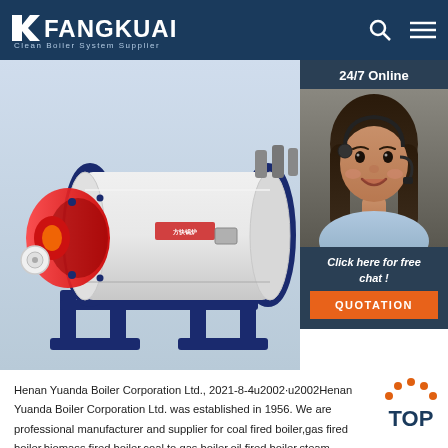FANGKUAI Clean Boiler System Supplier
[Figure (photo): Industrial boiler unit with white cylindrical body, blue frame/stand, and red combustion chamber on the left side. Fangkuai brand logo visible on the boiler body.]
[Figure (photo): Customer service agent, a woman wearing a headset, smiling. Overlaid with '24/7 Online' header and 'Click here for free chat!' CTA with QUOTATION button.]
Henan Yuanda Boiler Corporation Ltd., 2021-8-4u2002·u2002Henan Yuanda Boiler Corporation Ltd. was established in 1956. We are professional manufacturer and supplier for coal fired boiler,gas fired boiler,biomass fired boiler,coal to gas boiler,oil fired boiler,steam boiler,hot water boiler,thermal oil boiler etc.